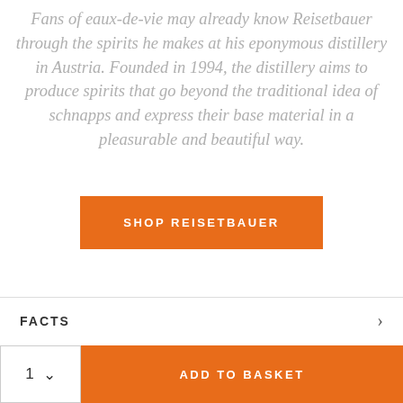Fans of eaux-de-vie may already know Reisetbauer through the spirits he makes at his eponymous distillery in Austria. Founded in 1994, the distillery aims to produce spirits that go beyond the traditional idea of schnapps and express their base material in a pleasurable and beautiful way.
SHOP REISETBAUER
FACTS
1
ADD TO BASKET